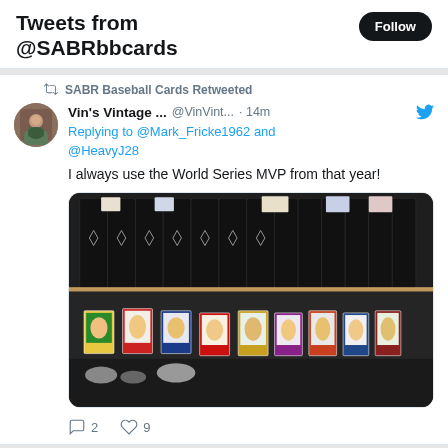Tweets from @SABRbbcards
SABR Baseball Cards Retweeted
Vin's Vintage ... @VinVint... · 14m
Replying to @Mark_Fricke1962 and @HeavyJ28
I always use the World Series MVP from that year!
[Figure (photo): Shelf of black baseball card binders with individual baseball cards displayed in front]
2 replies, 9 likes
SABR Baseball Cards Retweeted